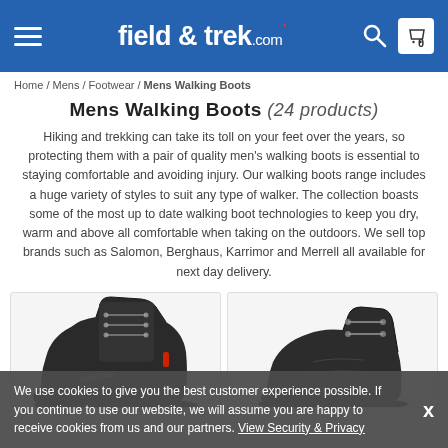field & trek.com
Home / Mens / Footwear / Mens Walking Boots
Mens Walking Boots (24 products)
Hiking and trekking can take its toll on your feet over the years, so protecting them with a pair of quality men's walking boots is essential to staying comfortable and avoiding injury. Our walking boots range includes a huge variety of styles to suit any type of walker. The collection boasts some of the most up to date walking boot technologies to keep you dry, warm and above all comfortable when taking on the outdoors. We sell top brands such as Salomon, Berghaus, Karrimor and Merrell all available for next day delivery.
[Figure (photo): Two mens walking boots product images shown side by side in product grid cards]
We use cookies to give you the best customer experience possible. If you continue to use our website, we will assume you are happy to receive cookies from us and our partners. View Security & Privacy